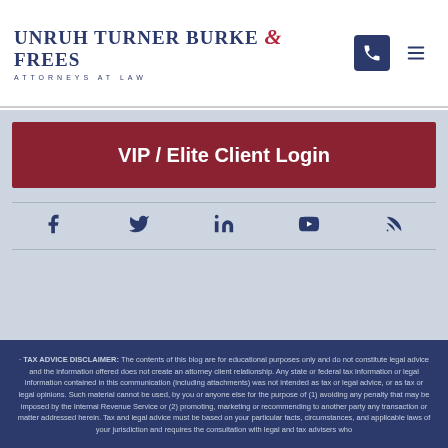[Figure (logo): Unruh Turner Burke & Frees Attorneys at Law logo]
VIP / Elite Client Login
[Figure (infographic): Social media icons: Facebook, Twitter, LinkedIn, YouTube, RSS]
TAX ADVICE DISCLAIMER: The contents of this blog are for educational purposes only and do not constitute legal advice and the information offered does not create an attorney client relationship. Any state or federal tax information or legal information contained in this communication (including attachments) was not intended as tax or legal advice, or as tax or legal opinions. Such material cannot be used, by you or anyone else for the purpose of (1) avoiding any penalty that may be imposed by the Internal Revenue Service or (2) promoting, marketing or recommending to another party any transaction or matter addressed herein. Tax and legal advice must be based on your particular facts, circumstances, and applicable laws of your jurisdiction and requires the consultation with legal and tax advisers who